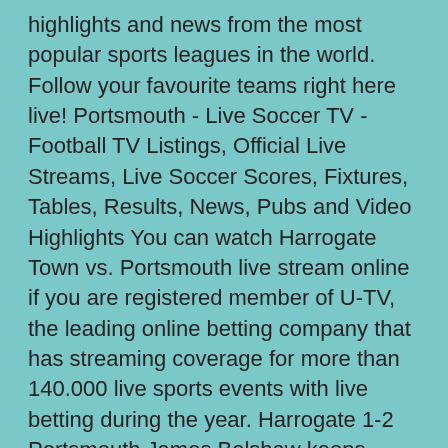highlights and news from the most popular sports leagues in the world. Follow your favourite teams right here live! Portsmouth - Live Soccer TV - Football TV Listings, Official Live Streams, Live Soccer Scores, Fixtures, Tables, Results, News, Pubs and Video Highlights You can watch Harrogate Town vs. Portsmouth live stream online if you are registered member of U-TV, the leading online betting company that has streaming coverage for more than 140.000 live sports events with live betting during the year. Harrogate 1-2 Portsmouth James Belshaw keeps Harrogate in the game. Watch Harrogate Town 1-2 Portsmouth Live Scores, Live Streaming , ,Match Result , Highlights, News, Videos - Nov 11 2019 - England FA Cup - SportEpoch.com Rio - "Players get called out for mistakes, De Gea is no exception", Hodgson - "No doubt" that we should be in market for a striker, Nuno - "When we score it's always a moment of true happiness", Doherty - "We feel we're building momentum", Traore bulldozes through and sets up Jonny for 2-0. Wonderful Wolves